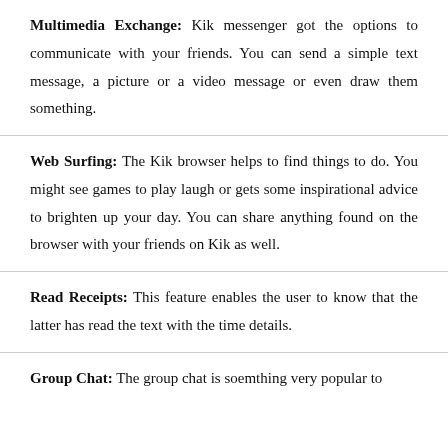Multimedia Exchange: Kik messenger got the options to communicate with your friends. You can send a simple text message, a picture or a video message or even draw them something.
Web Surfing: The Kik browser helps to find things to do. You might see games to play laugh or gets some inspirational advice to brighten up your day. You can share anything found on the browser with your friends on Kik as well.
Read Receipts: This feature enables the user to know that the latter has read the text with the time details.
Group Chat: The group chat is soemthing very popular to